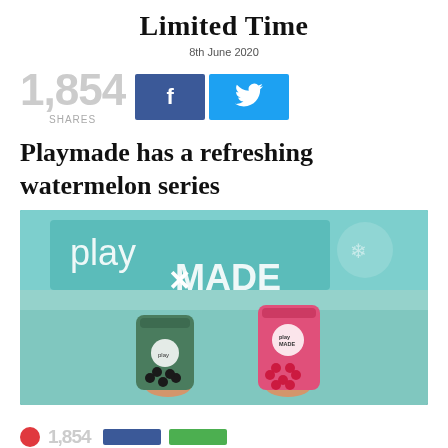Limited Time
8th June 2020
1,854 SHARES
Playmade has a refreshing watermelon series
[Figure (photo): Two Playmade bubble tea drinks held up in front of Playmade store signage — one green matcha drink with black pearls and one pink watermelon drink with red pearls.]